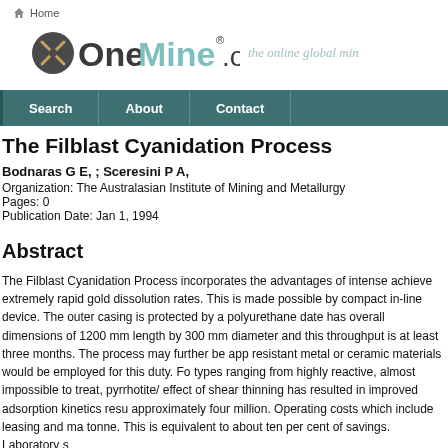Home | OneMine.org — the online global min
The Filblast Cyanidation Process
Bodnaras G E, ; Sceresini P A,
Organization: The Australasian Institute of Mining and Metallurgy
Pages: 0
Publication Date: Jan 1, 1994
Abstract
The Filblast Cyanidation Process incorporates the advantages of intense... achieve extremely rapid gold dissolution rates. This is made possible by compact in-line device. The outer casing is protected by a polyurethane date has overall dimensions of 1200 mm length by 300 mm diameter and this throughput is at least three months. The process may further be app resistant metal or ceramic materials would be employed for this duty. Fo types ranging from highly reactive, almost impossible to treat, pyrrhotite/ effect of shear thinning has resulted in improved adsorption kinetics resu approximately four million. Operating costs which include leasing and ma tonne. This is equivalent to about ten per cent of savings. Laboratory s